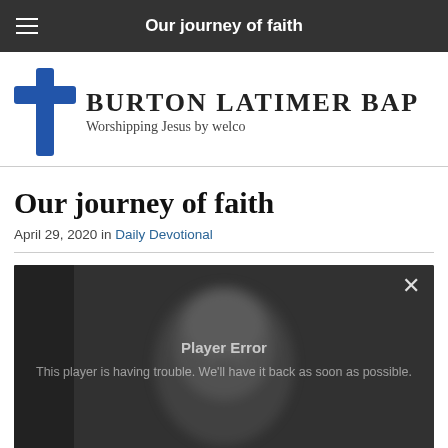Our journey of faith
[Figure (logo): Burton Latimer Baptist Church logo with blue cross and text: BURTON LATIMER BAP / Worshipping Jesus by welco]
Our journey of faith
April 29, 2020 in Daily Devotional
[Figure (screenshot): Video player showing a blurred face with glasses. Player error message: 'Player Error - This player is having trouble. We'll have it back as soon as possible.' A close (X) button is in the top right corner.]